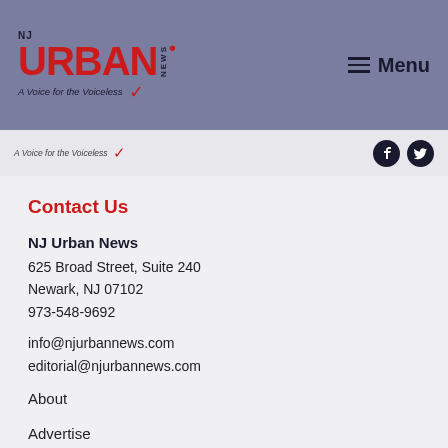NJ URBAN NEWS — A Voice for the Voiceless | Menu
Contact Us
NJ Urban News
625 Broad Street, Suite 240
Newark, NJ 07102
973-548-9692
info@njurbannews.com
editorial@njurbannews.com
About
Advertise